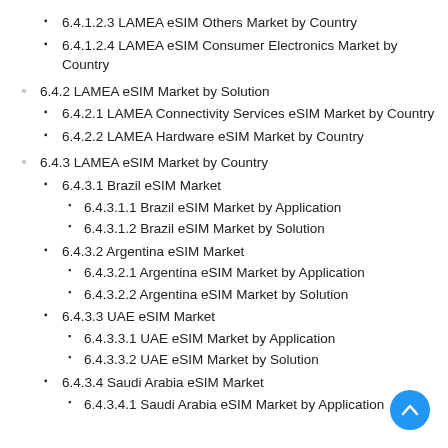6.4.1.2.3 LAMEA eSIM Others Market by Country
6.4.1.2.4 LAMEA eSIM Consumer Electronics Market by Country
6.4.2 LAMEA eSIM Market by Solution
6.4.2.1 LAMEA Connectivity Services eSIM Market by Country
6.4.2.2 LAMEA Hardware eSIM Market by Country
6.4.3 LAMEA eSIM Market by Country
6.4.3.1 Brazil eSIM Market
6.4.3.1.1 Brazil eSIM Market by Application
6.4.3.1.2 Brazil eSIM Market by Solution
6.4.3.2 Argentina eSIM Market
6.4.3.2.1 Argentina eSIM Market by Application
6.4.3.2.2 Argentina eSIM Market by Solution
6.4.3.3 UAE eSIM Market
6.4.3.3.1 UAE eSIM Market by Application
6.4.3.3.2 UAE eSIM Market by Solution
6.4.3.4 Saudi Arabia eSIM Market
6.4.3.4.1 Saudi Arabia eSIM Market by Application